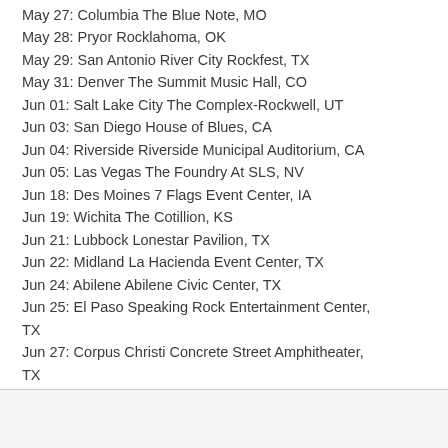May 27: Columbia The Blue Note, MO
May 28: Pryor Rocklahoma, OK
May 29: San Antonio River City Rockfest, TX
May 31: Denver The Summit Music Hall, CO
Jun 01: Salt Lake City The Complex-Rockwell, UT
Jun 03: San Diego House of Blues, CA
Jun 04: Riverside Riverside Municipal Auditorium, CA
Jun 05: Las Vegas The Foundry At SLS, NV
Jun 18: Des Moines 7 Flags Event Center, IA
Jun 19: Wichita The Cotillion, KS
Jun 21: Lubbock Lonestar Pavilion, TX
Jun 22: Midland La Hacienda Event Center, TX
Jun 24: Abilene Abilene Civic Center, TX
Jun 25: El Paso Speaking Rock Entertainment Center, TX
Jun 27: Corpus Christi Concrete Street Amphitheater, TX